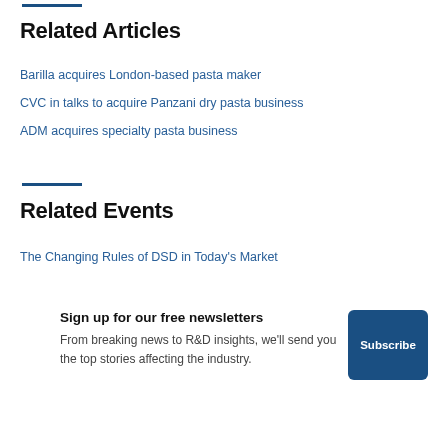Related Articles
Barilla acquires London-based pasta maker
CVC in talks to acquire Panzani dry pasta business
ADM acquires specialty pasta business
Related Events
The Changing Rules of DSD in Today's Market
Sign up for our free newsletters
From breaking news to R&D insights, we'll send you the top stories affecting the industry.